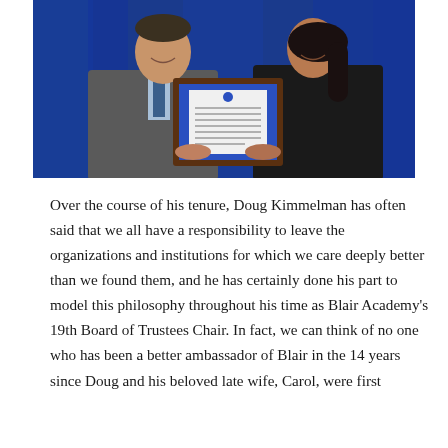[Figure (photo): Two people standing in front of a blue draped background, holding a framed award/certificate together. The person on the left is a man in a gray suit with a blue tie, smiling. The person on the right is a woman in a black outfit with dark hair.]
Over the course of his tenure, Doug Kimmelman has often said that we all have a responsibility to leave the organizations and institutions for which we care deeply better than we found them, and he has certainly done his part to model this philosophy throughout his time as Blair Academy's 19th Board of Trustees Chair. In fact, we can think of no one who has been a better ambassador of Blair in the 14 years since Doug and his beloved late wife, Carol, were first